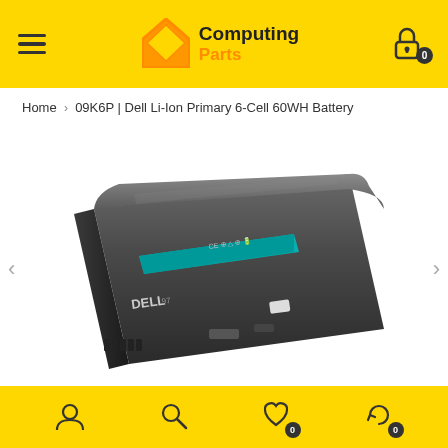Computing Parts — Navigation header with hamburger menu, logo, and cart icon
Home › 09K6P | Dell Li-Ion Primary 6-Cell 60WH Battery
[Figure (photo): Dell 97Wh Li-Ion 6-cell laptop battery, black, with teal label and regulatory markings, viewed from above at an angle. Navigation arrows on left and right sides.]
Footer navigation bar with user account icon, search icon, wishlist icon (badge: 0), and refresh/cart icon (badge: 0)